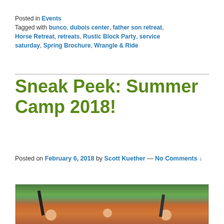Posted in Events
Tagged with bunco, dubois center, father son retreat, Horse Retreat, retreats, Rustic Block Party, service saturday, Spring Brochure, Wrangle & Ride
Sneak Peek: Summer Camp 2018!
Posted on February 6, 2018 by Scott Kuether — No Comments ↓
[Figure (photo): Three children wearing red life jackets sitting in a canoe on a lake or river, holding paddles, with green trees in the background]